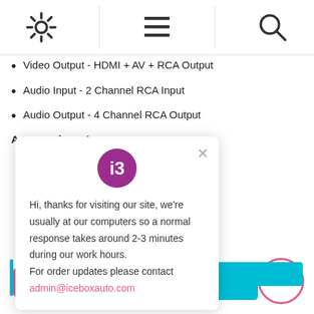[Figure (screenshot): Navigation bar with settings gear icon, menu/hamburger icon, and search magnifier icon]
Video Output - HDMI + AV + RCA Output
Audio Input - 2 Channel RCA Input
Audio Output - 4 Channel RCA Output
Accessories x 1
[Figure (screenshot): Chat popup with i3 logo, close X button, message: Hi, thanks for visiting our site, we're usually at our computers so a normal response takes around 2-3 minutes during our work hours. For order updates please contact admin@iceboxauto.com]
[Figure (screenshot): Bottom area with pink chat bubble button, cyan CPU/6 core icon, cyan 32G SD card icon, and pink scroll-to-top circle button]